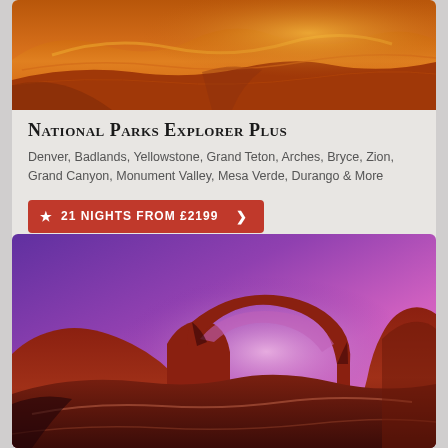[Figure (photo): Aerial/close-up view of orange-red desert sand dunes with warm golden lighting]
National Parks Explorer Plus
Denver, Badlands, Yellowstone, Grand Teton, Arches, Bryce, Zion, Grand Canyon, Monument Valley, Mesa Verde, Durango & More
21 NIGHTS FROM £2199
[Figure (photo): Delicate Arch rock formation in Arches National Park against a vivid purple-pink sunset sky]